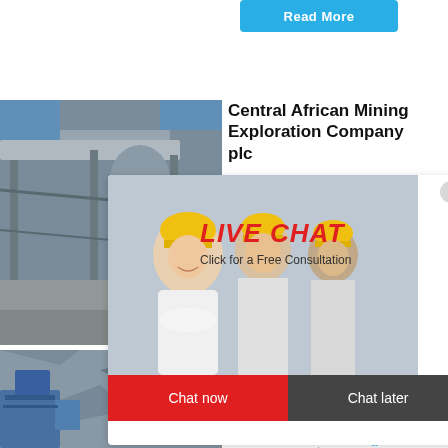[Figure (screenshot): Read More button (blue) at top center]
[Figure (photo): Industrial mining conveyor belt and processing equipment]
Central African Mining Exploration Company plc
[Figure (screenshot): Live Chat popup overlay with workers in hard hats, LIVE CHAT text in red italic, 'Click for a Free Consultation', Chat now (red) and Chat later (dark) buttons]
[Figure (screenshot): Sidebar with hour online text, machine/crusher photo, Click me to chat>> button, Enquiry button, limingjlmofen text]
[Figure (photo): Open pit mining scene with blue industrial equipment]
Gold an... the Ce... Repub...
2013-3-2...